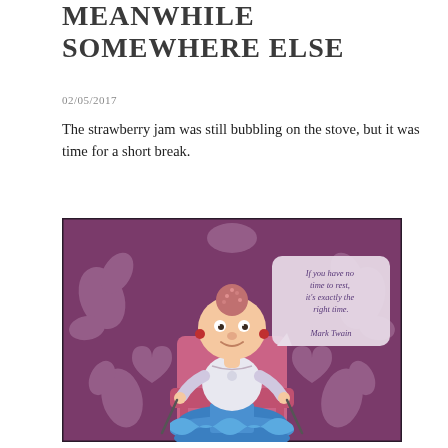MEANWHILE SOMEWHERE ELSE
02/05/2017
The strawberry jam was still bubbling on the stove, but it was time for a short break.
[Figure (illustration): Cartoon illustration of a quirky female character with big eyes and red pigtails, wearing a blue ruffled skirt and white top, sitting in a pink chair with knitting needles. Purple damask wallpaper background. A speech bubble in the upper right reads: 'If you have no time to rest, it's exactly the right time. Mark Twain']